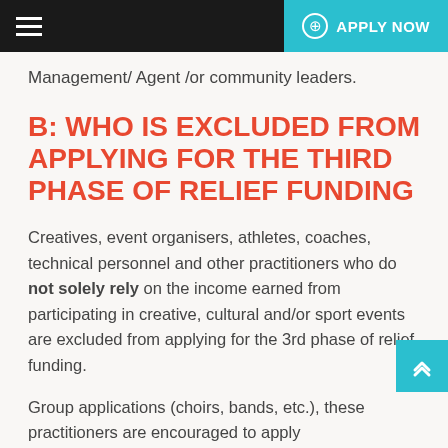APPLY NOW
Management/ Agent /or community leaders.
B: WHO IS EXCLUDED FROM APPLYING FOR THE THIRD PHASE OF RELIEF FUNDING
Creatives, event organisers, athletes, coaches, technical personnel and other practitioners who do not solely rely on the income earned from participating in creative, cultural and/or sport events are excluded from applying for the 3rd phase of relief funding.
Group applications (choirs, bands, etc.), these practitioners are encouraged to apply